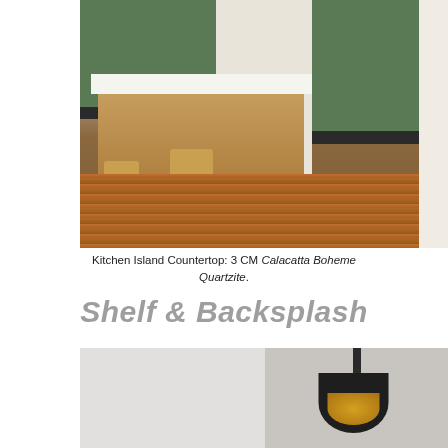[Figure (photo): Kitchen interior with green cabinets, wood island with white countertop, wicker bar stools with black metal legs, hardwood floors, and a stove in the background]
Kitchen Island Countertop: 3 CM Calacatta Boheme Quartzite.
Shelf & Backsplash
[Figure (photo): Two side-by-side photos: left shows a light gray/white wall surface; right shows an industrial-style black pendant lamp with brass/gold interior]